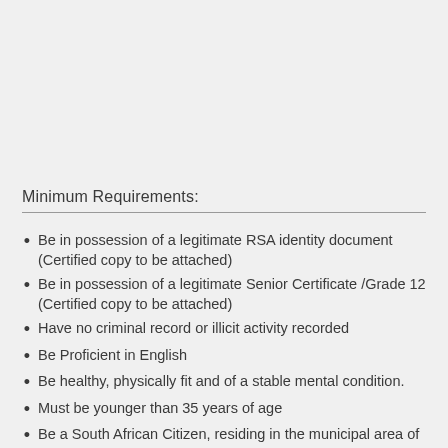Minimum Requirements:
Be in possession of a legitimate RSA identity document (Certified copy to be attached)
Be in possession of a legitimate Senior Certificate /Grade 12 (Certified copy to be attached)
Have no criminal record or illicit activity recorded
Be Proficient in English
Be healthy, physically fit and of a stable mental condition.
Must be younger than 35 years of age
Be a South African Citizen, residing in the municipal area of the City of Ekurhuleni (Attach proof of residence and affidavit to confirm address if the surname differs from